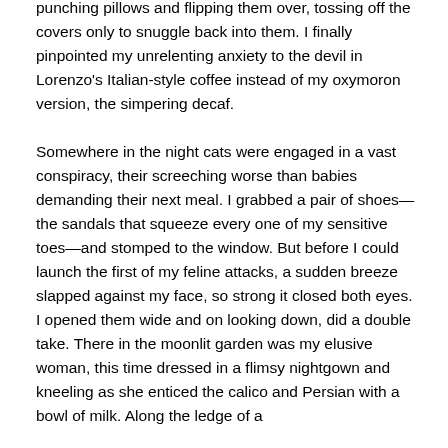punching pillows and flipping them over, tossing off the covers only to snuggle back into them. I finally pinpointed my unrelenting anxiety to the devil in Lorenzo’s Italian-style coffee instead of my oxymoron version, the simpering decaf.

Somewhere in the night cats were engaged in a vast conspiracy, their screeching worse than babies demanding their next meal. I grabbed a pair of shoes—the sandals that squeeze every one of my sensitive toes—and stomped to the window. But before I could launch the first of my feline attacks, a sudden breeze slapped against my face, so strong it closed both eyes. I opened them wide and on looking down, did a double take. There in the moonlit garden was my elusive woman, this time dressed in a flimsy nightgown and kneeling as she enticed the calico and Persian with a bowl of milk. Along the ledge of a